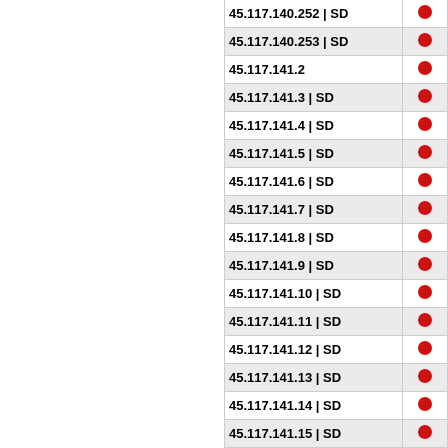| IP | Type | Flag |
| --- | --- |
| 45.117.140.252 | SD | ● |
| 45.117.140.253 | SD | ● |
| 45.117.141.2 | ● |
| 45.117.141.3 | SD | ● |
| 45.117.141.4 | SD | ● |
| 45.117.141.5 | SD | ● |
| 45.117.141.6 | SD | ● |
| 45.117.141.7 | SD | ● |
| 45.117.141.8 | SD | ● |
| 45.117.141.9 | SD | ● |
| 45.117.141.10 | SD | ● |
| 45.117.141.11 | SD | ● |
| 45.117.141.12 | SD | ● |
| 45.117.141.13 | SD | ● |
| 45.117.141.14 | SD | ● |
| 45.117.141.15 | SD | ● |
| 45.117.141.16 | SD | ● |
| 45.117.141.17 | SD | ● |
| 45.117.141.18 | SD | ● |
| 45.117.141.19 | SD | ● |
| 45.117.141.20 | SD | ● |
| 45.117.141.21 | SD | ● |
| 45.117.141.22 | SD | ● |
| 45.117.141.23 | SD | ● |
| 45.117.141.24 | SD | ● |
| 45.117.141.25 | SD | ● |